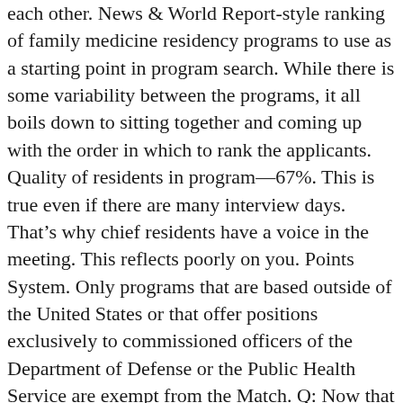each other. News & World Report-style ranking of family medicine residency programs to use as a starting point in program search. While there is some variability between the programs, it all boils down to sitting together and coming up with the order in which to rank the applicants. Quality of residents in program—67%. This is true even if there are many interview days. That's why chief residents have a voice in the meeting. This reflects poorly on you. Points System. Only programs that are based outside of the United States or that offer positions exclusively to commissioned officers of the Department of Defense or the Public Health Service are exempt from the Match. Q: Now that you have completed your interviews with potential residents and submitted your rankings, have you reviewed how many applicants you are considering were